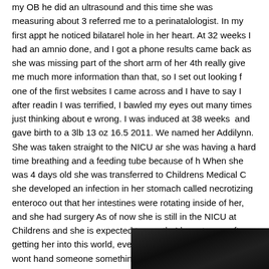my OB he did an ultrasound and this time she was measuring about 3 referred me to a perinatalologist. In my first appt he noticed bilatarel hole in her heart. At 32 weeks I had an amnio done, and I got a phone results came back as she was missing part of the short arm of her 4th really give me much more information than that, so I set out looking f one of the first websites I came across and I have to say I after readin I was terrified, I bawled my eyes out many times just thinking about e wrong. I was induced at 38 weeks and gave birth to a 3lb 13 oz 16.5 2011. We named her Addilynn. She was taken straight to the NICU ar she was having a hard time breathing and a feeding tube because of h When she was 4 days old she was transferred to Childrens Medical C she developed an infection in her stomach called necrotizing enteroco out that her intestines were rotating inside of her, and she had surgery As of now she is still in the NICU at Childrens and she is expected to month. I have to say after getting her into this world, everything isnt a would be. God wont hand someone something that he knows they wo and everyday we get with our miracle baby is such a blessing.
[Figure (photo): Black and white photo, partially visible at bottom right of page]